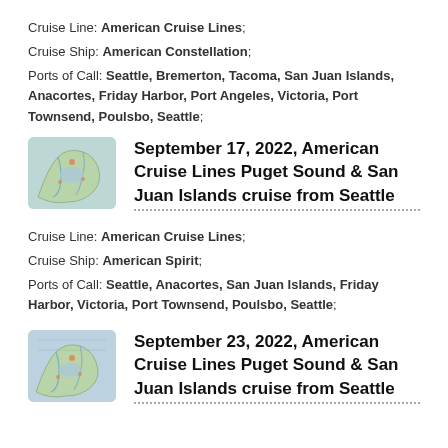Cruise Line: American Cruise Lines;
Cruise Ship: American Constellation;
Ports of Call: Seattle, Bremerton, Tacoma, San Juan Islands, Anacortes, Friday Harbor, Port Angeles, Victoria, Port Townsend, Poulsbo, Seattle;
[Figure (map): Small map thumbnail showing the Pacific Northwest / Puget Sound region]
September 17, 2022, American Cruise Lines Puget Sound & San Juan Islands cruise from Seattle
Cruise Line: American Cruise Lines;
Cruise Ship: American Spirit;
Ports of Call: Seattle, Anacortes, San Juan Islands, Friday Harbor, Victoria, Port Townsend, Poulsbo, Seattle;
[Figure (map): Small map thumbnail showing the Pacific Northwest / Puget Sound region]
September 23, 2022, American Cruise Lines Puget Sound & San Juan Islands cruise from Seattle